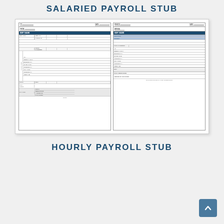SALARIED PAYROLL STUB
[Figure (other): Preview image of a salaried payroll stub form showing two halves with fields for employee name, pay period, earnings, deductions including federal/state taxes, FICA, Medicare, and totals.]
HOURLY PAYROLL STUB